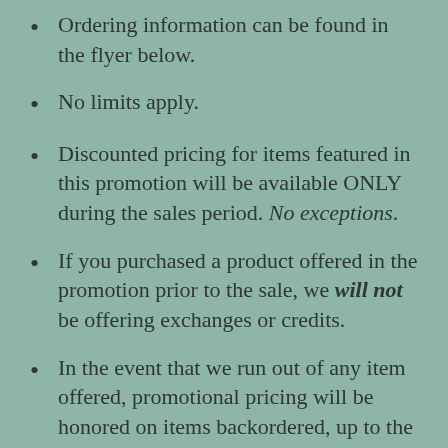Ordering information can be found in the flyer below.
No limits apply.
Discounted pricing for items featured in this promotion will be available ONLY during the sales period. No exceptions.
If you purchased a product offered in the promotion prior to the sale, we will not be offering exchanges or credits.
In the event that we run out of any item offered, promotional pricing will be honored on items backordered, up to the point it reaches the backorder limit. If you try to order an item that is not available, you will receive a notification informing you